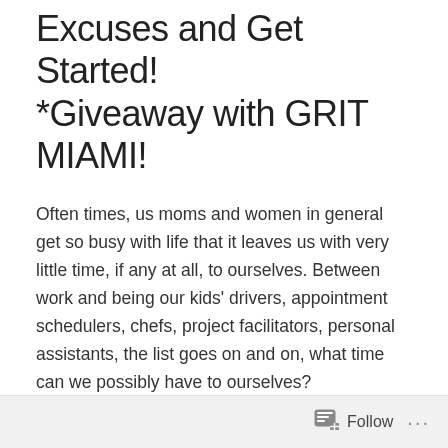Excuses and Get Started! *Giveaway with GRIT MIAMI!
Often times, us moms and women in general get so busy with life that it leaves us with very little time, if any at all, to ourselves. Between work and being our kids' drivers, appointment schedulers, chefs, project facilitators, personal assistants, the list goes on and on, what time can we possibly have to ourselves?
While I agree that yes, life does get hectic, ladies: let's STOP making excuses and let's make ourselves and our health and fitness a priority. We need to
Follow ···